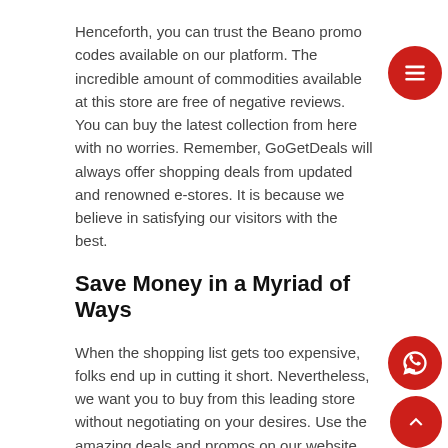Henceforth, you can trust the Beano promo codes available on our platform. The incredible amount of commodities available at this store are free of negative reviews. You can buy the latest collection from here with no worries. Remember, GoGetDeals will always offer shopping deals from updated and renowned e-stores. It is because we believe in satisfying our visitors with the best.
Save Money in a Myriad of Ways
When the shopping list gets too expensive, folks end up in cutting it short. Nevertheless, we want you to buy from this leading store without negotiating on your desires. Use the amazing deals and promos on our website and buy in the prices you desire.
There are various ways through which you can save money. One of them is to connect with a voucher platform like GGD. So, waste no time and make the most of your savings by shopping more while spending less.
We have extended our network on various social media pages too. It gives you an opportunity to look for us on maximum